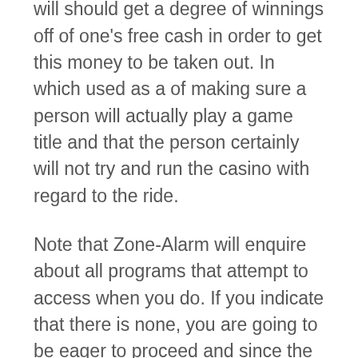casino. In many instances a person will should get a degree of winnings off of one's free cash in order to get this money to be taken out. In which used as a of making sure a person will actually play a game title and that the person certainly will not try and run the casino with regard to the ride.
Note that Zone-Alarm will enquire about all programs that attempt to access when you do. If you indicate that there is none, you are going to be eager to proceed and since the Zone-Alarm can't have use. This program can be distributed around you because of your online Casino free.
But imagine the dealer and the golfer happens to attract cards which are of equal value? Comes about frequently as things are an entire deck of 52 cards used. Program is . Casino War game starts when either the player or the casino dealer goes to war or maybe forced to surrender.
In order to locate the best online gambling locations, research a